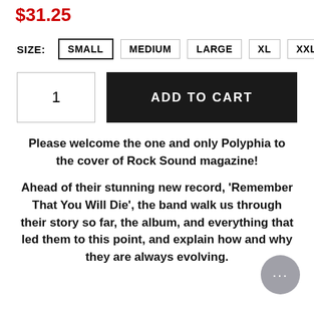$31.25
SIZE: SMALL MEDIUM LARGE XL XXL
1  ADD TO CART
Please welcome the one and only Polyphia to the cover of Rock Sound magazine!
Ahead of their stunning new record, 'Remember That You Will Die', the band walk us through their story so far, the album, and everything that led them to this point, and explain how and why they are always evolving.